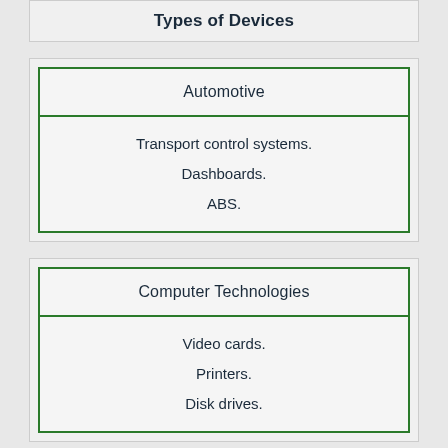Types of Devices
Automotive
Transport control systems.
Dashboards.
ABS.
Computer Technologies
Video cards.
Printers.
Disk drives.
Military and Space Industry